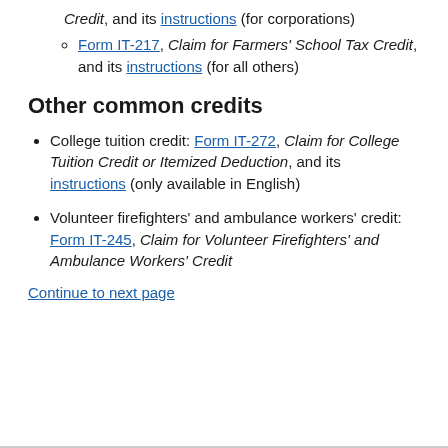Credit, and its instructions (for corporations)
Form IT-217, Claim for Farmers' School Tax Credit, and its instructions (for all others)
Other common credits
College tuition credit: Form IT-272, Claim for College Tuition Credit or Itemized Deduction, and its instructions (only available in English)
Volunteer firefighters' and ambulance workers' credit: Form IT-245, Claim for Volunteer Firefighters' and Ambulance Workers' Credit
Continue to next page